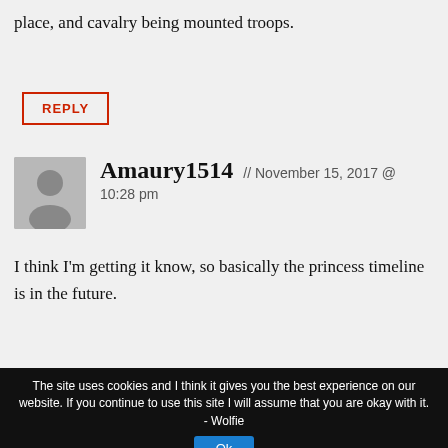place, and cavalry being mounted troops.
REPLY
Amaury1514 // November 15, 2017 @ 10:28 pm
I think I'm getting it know, so basically the princess timeline is in the future.
The site uses cookies and I think it gives you the best experience on our website. If you continue to use this site I will assume that you are okay with it. - Wolfie